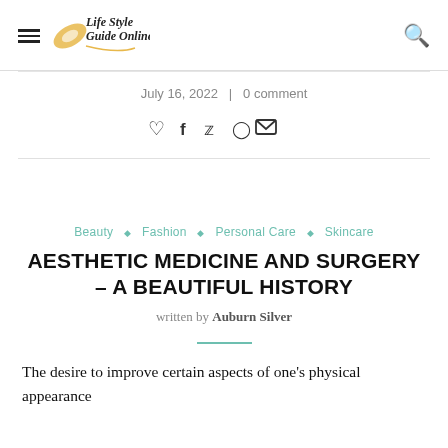Life Style Guide Online
July 16, 2022  |  0 comment
[Figure (infographic): Social share icons: heart, facebook, twitter, pinterest, email]
Beauty  ◇  Fashion  ◇  Personal Care  ◇  Skincare
AESTHETIC MEDICINE AND SURGERY – A BEAUTIFUL HISTORY
written by Auburn Silver
The desire to improve certain aspects of one's physical appearance